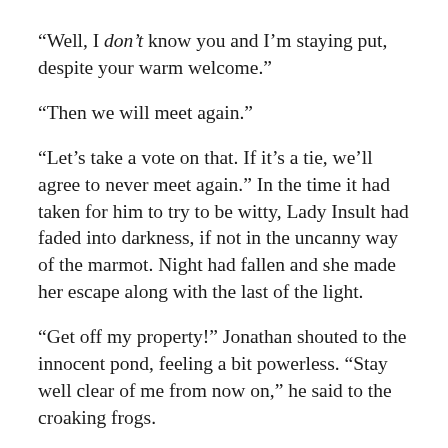“Well, I don’t know you and I’m staying put, despite your warm welcome.”
“Then we will meet again.”
“Let’s take a vote on that. If it’s a tie, we’ll agree to never meet again.” In the time it had taken for him to try to be witty, Lady Insult had faded into darkness, if not in the uncanny way of the marmot. Night had fallen and she made her escape along with the last of the light.
“Get off my property!” Jonathan shouted to the innocent pond, feeling a bit powerless. “Stay well clear of me from now on,” he said to the croaking frogs.
Despite his bravado, Jonathan shivered, and not from the chill of the night air. The conversation had exhausted him. And he was glad now that his Poxforth friends Rack and